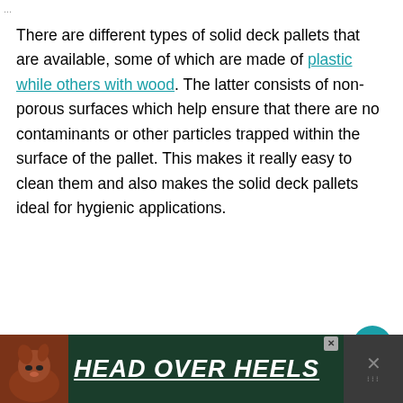...
There are different types of solid deck pallets that are available, some of which are made of plastic while others with wood. The latter consists of non-porous surfaces which help ensure that there are no contaminants or other particles trapped within the surface of the pallet. This makes it really easy to clean them and also makes the solid deck pallets ideal for hygienic applications.
[Figure (other): Circular teal like button with heart icon]
[Figure (other): Circular white share button with share icon and plus sign]
[Figure (other): Advertisement banner with dark green background showing a dog and text HEAD OVER HEELS in white bold italic underlined text]